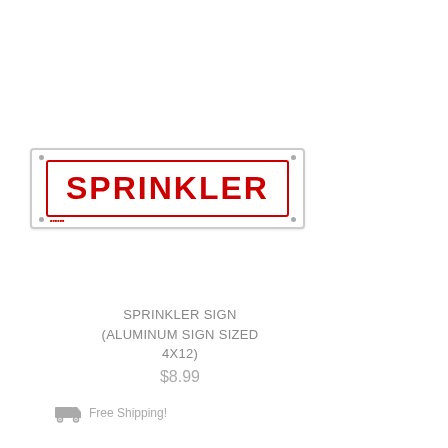[Figure (photo): A rectangular aluminum sprinkler sign with a white background. The sign has a red border inside the outer grey frame, with the word SPRINKLER in bold red capital letters in the center. Small grey circular fastener holes are at each corner.]
SPRINKLER SIGN (ALUMINUM SIGN SIZED 4X12)
$8.99
Free Shipping!